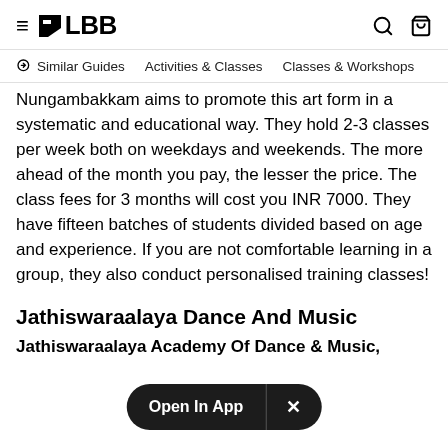≡ LBB [search] [bag]
Similar Guides   Activities & Classes   Classes & Workshops
Nungambakkam aims to promote this art form in a systematic and educational way. They hold 2-3 classes per week both on weekdays and weekends. The more ahead of the month you pay, the lesser the price. The class fees for 3 months will cost you INR 7000. They have fifteen batches of students divided based on age and experience. If you are not comfortable learning in a group, they also conduct personalised training classes!
Jathiswaraalaya Dance And Music
Jathiswaraalaya Academy Of Dance & Music,
[Figure (other): Open In App popup button with close X]